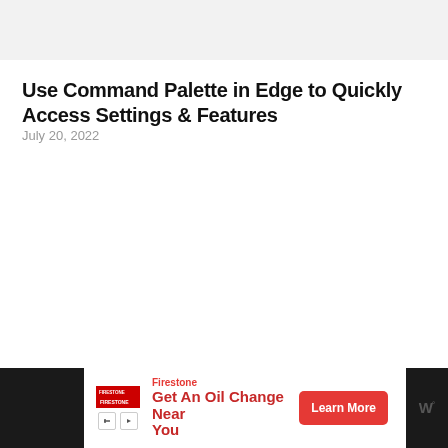Use Command Palette in Edge to Quickly Access Settings & Features
July 20, 2022
[Figure (other): Advertisement banner: Firestone – Get An Oil Change Near You, with Learn More button]